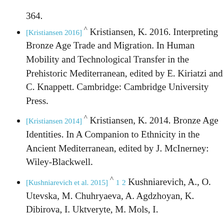364.
[Kristiansen 2016] ^ Kristiansen, K. 2016. Interpreting Bronze Age Trade and Migration. In Human Mobility and Technological Transfer in the Prehistoric Mediterranean, edited by E. Kiriatzi and C. Knappett. Cambridge: Cambridge University Press.
[Kristiansen 2014] ^ Kristiansen, K. 2014. Bronze Age Identities. In A Companion to Ethnicity in the Ancient Mediterranean, edited by J. McInerney: Wiley-Blackwell.
[Kushniarevich et al. 2015] ^ 1 2 Kushniarevich, A., O. Utevska, M. Chuhryaeva, A. Agdzhoyan, K. Dibirova, I. Uktveryte, M. Mols, I...